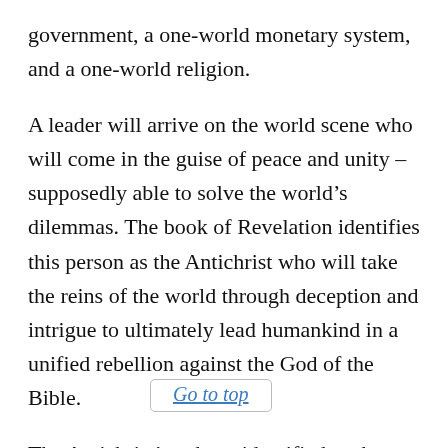government, a one-world monetary system, and a one-world religion.
A leader will arrive on the world scene who will come in the guise of peace and unity – supposedly able to solve the world's dilemmas. The book of Revelation identifies this person as the Antichrist who will take the reins of the world through deception and intrigue to ultimately lead humankind in a unified rebellion against the God of the Bible.
The Antichrist's cohort, identified as the False Prophet, will be as the Bible indicates, a lamb on the surface, but a dragon underneath. He will be instrumental in uniting the world's religions… ecumenical movement under